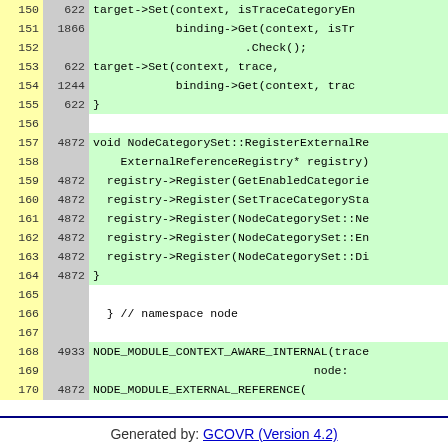| Line | Hits | Code |
| --- | --- | --- |
| 150 | 622 | target->Set(context, isTraceCategoryEn |
| 151 | 1866 | binding->Get(context, isTr |
| 152 |  | .Check(); |
| 153 | 622 | target->Set(context, trace, |
| 154 | 1244 | binding->Get(context, trac |
| 155 | 622 | } |
| 156 |  |  |
| 157 | 4872 | void NodeCategorySet::RegisterExternalRe |
| 158 |  | ExternalReferenceRegistry* registry) |
| 159 | 4872 | registry->Register(GetEnabledCategorie |
| 160 | 4872 | registry->Register(SetTraceCategorySta |
| 161 | 4872 | registry->Register(NodeCategorySet::Ne |
| 162 | 4872 | registry->Register(NodeCategorySet::En |
| 163 | 4872 | registry->Register(NodeCategorySet::Di |
| 164 | 4872 | } |
| 165 |  |  |
| 166 |  | }  // namespace node |
| 167 |  |  |
| 168 | 4933 | NODE_MODULE_CONTEXT_AWARE_INTERNAL(trace |
| 169 |  | node: |
| 170 | 4872 | NODE_MODULE_EXTERNAL_REFERENCE( |
| 171 |  | trace_events, node::NodeCategorySet: |
Generated by: GCOVR (Version 4.2)